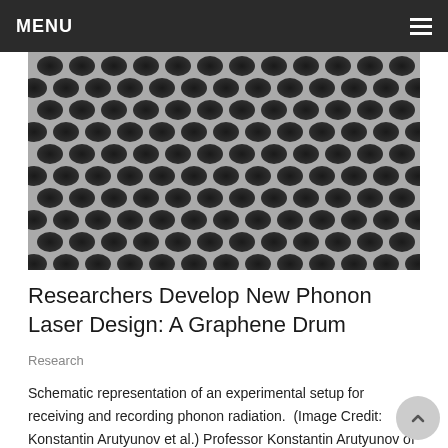MENU
[Figure (photo): Scanning electron microscope image of a graphene drum / hexagonal lattice nanostructure, shown in black and white. Dense pattern of oval/hexagonal dark shapes arranged in a honeycomb-like array.]
Researchers Develop New Phonon Laser Design: A Graphene Drum
Research
Schematic representation of an experimental setup for receiving and recording phonon radiation.  (Image Credit: Konstantin Arutyunov et al.) Professor Konstantin Arutyunov of the HSE Tikhonov Moscow Institute of Electronics and...